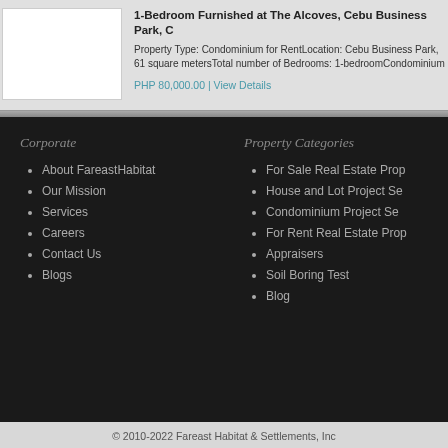1-Bedroom Furnished at The Alcoves, Cebu Business Park, C
Property Type: Condominium for RentLocation: Cebu Business Park, 61 square metersTotal number of Bedrooms: 1-bedroomCondominium
PHP 80,000.00 | View Details
Corporate
About FareastHabitat
Our Mission
Services
Careers
Contact Us
Blogs
Property Categories
For Sale Real Estate Prop
House and Lot Project Se
Condominium Project Se
For Rent Real Estate Prop
Appraisers
Soil Boring Test
Blog
© 2010-2022 Fareast Habitat & Settlements, Inc